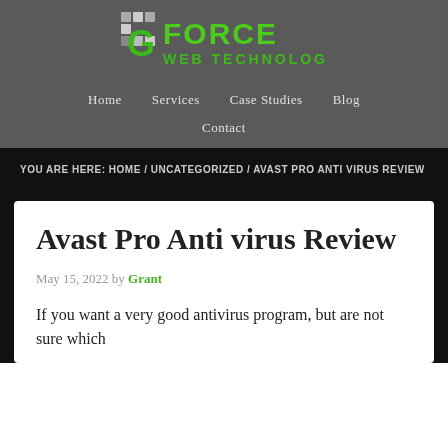[Figure (logo): G Force Web Technologies logo with green metallic G and green text]
Home   Services   Case Studies   Blog   Contact
YOU ARE HERE: HOME / UNCATEGORIZED / AVAST PRO ANTI VIRUS REVIEW
Avast Pro Anti virus Review
May 15, 2022 by Grant
If you want a very good antivirus program, but are not sure which